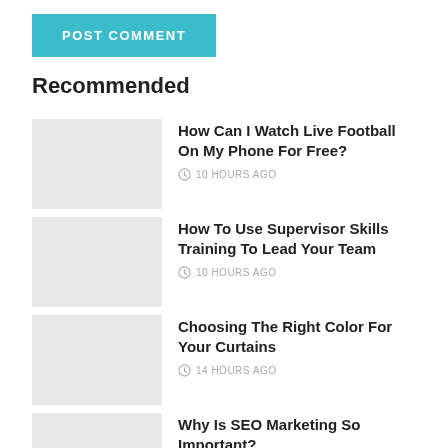POST COMMENT
Recommended
How Can I Watch Live Football On My Phone For Free?
10 HOURS AGO
How To Use Supervisor Skills Training To Lead Your Team
10 HOURS AGO
Choosing The Right Color For Your Curtains
14 HOURS AGO
Why Is SEO Marketing So Important?
14 HOURS AGO
Top 5 Types Of Fashion Aesthetics For 2022